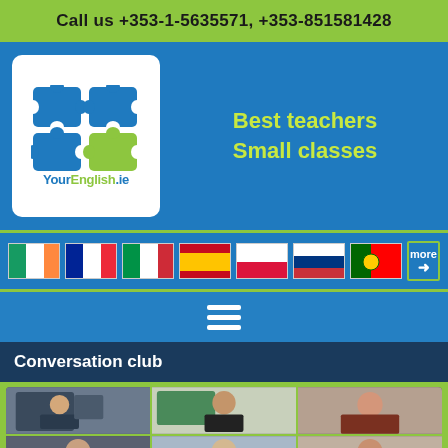Call us +353-1-5635571, +353-851581428
[Figure (logo): YourEnglish.ie logo with puzzle pieces in blue and green]
Best teachers
Small classes
[Figure (infographic): Row of country flags: Ireland, France, Italy, Spain, Poland, Russia, Portugal, and 'more' button]
[Figure (infographic): Hamburger menu icon (three white lines)]
Conversation club
[Figure (photo): Video call grid showing 6 participants in conversation club session]